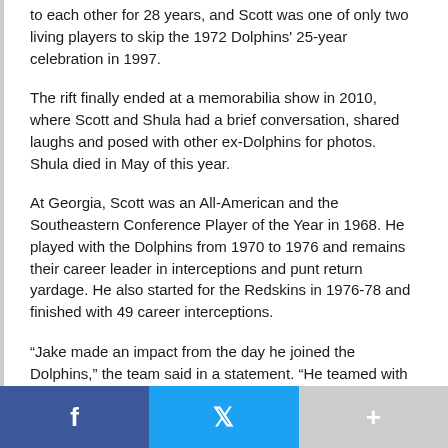to each other for 28 years, and Scott was one of only two living players to skip the 1972 Dolphins' 25-year celebration in 1997.
The rift finally ended at a memorabilia show in 2010, where Scott and Shula had a brief conversation, shared laughs and posed with other ex-Dolphins for photos. Shula died in May of this year.
At Georgia, Scott was an All-American and the Southeastern Conference Player of the Year in 1968. He played with the Dolphins from 1970 to 1976 and remains their career leader in interceptions and punt return yardage. He also started for the Redskins in 1976-78 and finished with 49 career interceptions.
“Jake made an impact from the day he joined the Dolphins,” the team said in a statement. “He teamed with Dick Anderson to form one of the top safety duos in NFL history.”